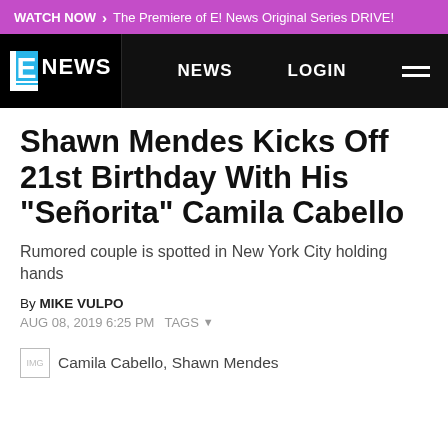WATCH NOW > The Premiere of E! News Original Series DRIVE!
E NEWS | NEWS | LOGIN
Shawn Mendes Kicks Off 21st Birthday With His "Señorita" Camila Cabello
Rumored couple is spotted in New York City holding hands
By MIKE VULPO
AUG 08, 2019 6:25 PM   TAGS
[Figure (photo): Camila Cabello, Shawn Mendes — partially visible image thumbnail at bottom of page]